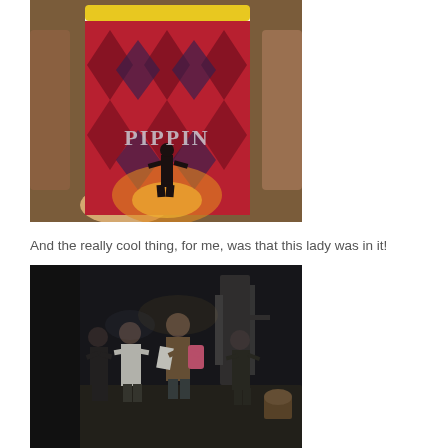[Figure (photo): A hand holding a Pippin musical playbill/program with a red argyle diamond pattern background and a silhouetted figure on the cover, taken inside a theater with brown seats visible.]
And the really cool thing, for me, was that this lady was in it!
[Figure (photo): A dark, blurry photo of performers taking a curtain call bow on a stage. Several figures are visible, one in the center wearing a brown jacket and pink item, with dark theatrical set pieces in the background.]